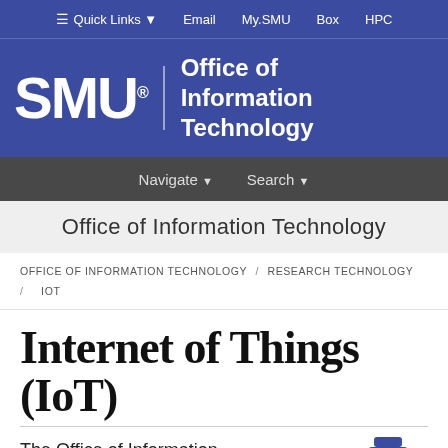≡ Quick Links ▾   Email   My.SMU   Box   HPC
[Figure (logo): SMU Office of Information Technology logo — white SMU wordmark and 'Office of Information Technology' text on blue background]
Navigate ▾   Search ▾
Office of Information Technology
OFFICE OF INFORMATION TECHNOLOGY / RESEARCH TECHNOLOGY / IOT
Internet of Things (IoT)
The Office of Information